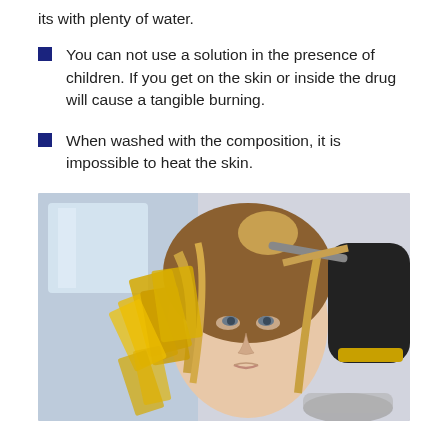its with plenty of water.
You can not use a solution in the presence of children. If you get on the skin or inside the drug will cause a tangible burning.
When washed with the composition, it is impossible to heat the skin.
[Figure (photo): A young woman sitting in a hair salon chair with golden foils in her hair, while a gloved hand applies hair dye with a brush.]